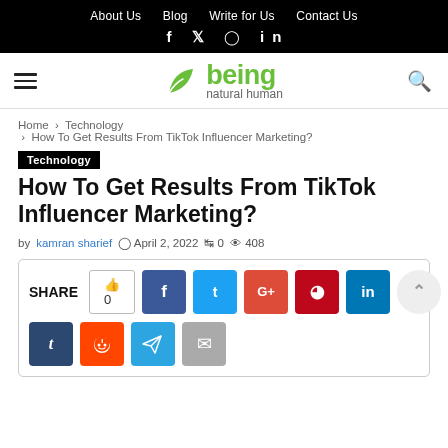About Us  Blog  Write for Us  Contact Us  f y instagram in
[Figure (logo): Being Natural Human logo with green leaf and green 'being' text]
Home > Technology > How To Get Results From TikTok Influencer Marketing?
Technology
How To Get Results From TikTok Influencer Marketing?
by kamran sharief  April 2, 2022  0  408
[Figure (infographic): Share buttons row: like button with 0, Facebook, Twitter, Google+, Pinterest, LinkedIn, scroll-up arrow, Tumblr, Reddit, Telegram, Email]